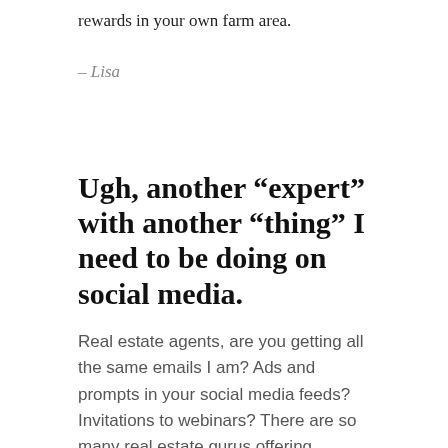rewards in your own farm area.
– Lisa
Ugh, another “expert” with another “thing” I need to be doing on social media.
Real estate agents, are you getting all the same emails I am? Ads and prompts in your social media feeds? Invitations to webinars? There are so many real estate gurus offering thoughts and ideas about what agents should be doing on social media right now. When I see them, I immediately think “ugh, another ‘expert’ with one more ‘thing’ I need to be